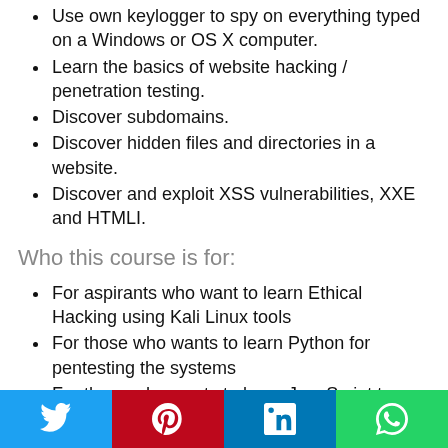Use own keylogger to spy on everything typed on a Windows or OS X computer.
Learn the basics of website hacking / penetration testing.
Discover subdomains.
Discover hidden files and directories in a website.
Discover and exploit XSS vulnerabilities, XXE and HTMLI.
Who this course is for:
For aspirants who want to learn Ethical Hacking using Kali Linux tools
For those who wants to learn Python for pentesting the systems
For those who wants to learn JavaScript to pen-test web applications
For future Security Officers who want to learn scripting language to make career out of it
For those who wants to learn to secure their systems from cyber security attacks
Twitter | Pinterest | LinkedIn | WhatsApp